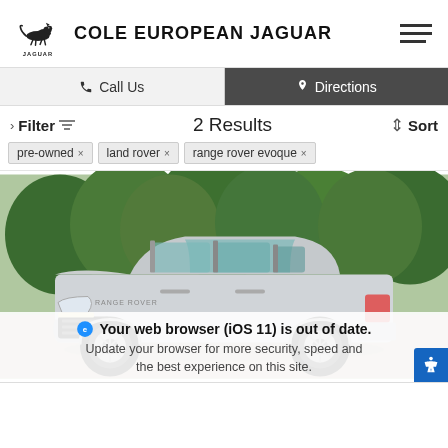COLE EUROPEAN JAGUAR
Call Us | Directions
Filter  2 Results  Sort
pre-owned ×
land rover ×
range rover evoque ×
[Figure (photo): Silver Land Rover Range Rover Evoque SUV parked in front of green trees, viewed from a front 3/4 angle. A browser warning overlay appears at the bottom: 'Your web browser (iOS 11) is out of date. Update your browser for more security, speed and the best experience on this site.']